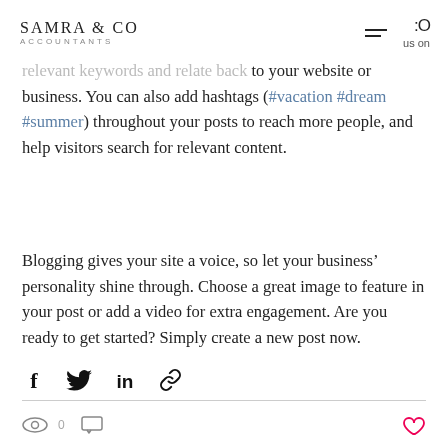SAMRA & CO ACCOUNTANTS
relevant keywords and relate back to your website or business. You can also add hashtags (#vacation #dream #summer) throughout your posts to reach more people, and help visitors search for relevant content.
Blogging gives your site a voice, so let your business’ personality shine through. Choose a great image to feature in your post or add a video for extra engagement. Are you ready to get started? Simply create a new post now.
[Figure (infographic): Social share icons: Facebook, Twitter, LinkedIn, and a link/chain icon]
Eye icon, view count, comment icon, heart icon